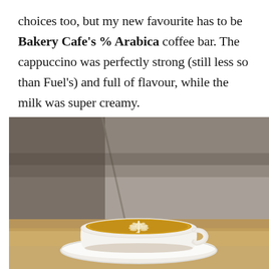choices too, but my new favourite has to be Bakery Cafe's % Arabica coffee bar. The cappuccino was perfectly strong (still less so than Fuel's) and full of flavour, while the milk was super creamy.
[Figure (photo): A close-up photograph of a cappuccino with latte art (leaf/rosette pattern) in a white ceramic cup on a white saucer, placed on a wooden table with a blurred grey background.]